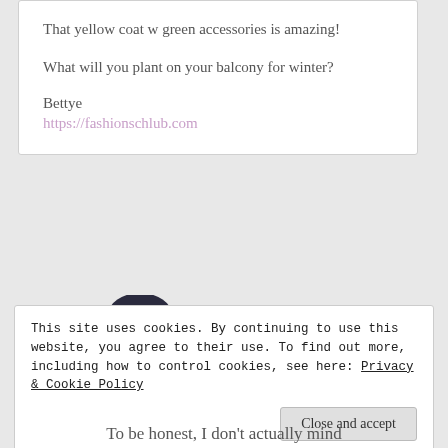That yellow coat w green accessories is amazing!
What will you plant on your balcony for winter?
Bettye
https://fashionschlub.com
[Figure (photo): Person wearing a dark hat and holding a camera up to their face, obscuring their face, wearing a dark top]
This site uses cookies. By continuing to use this website, you agree to their use. To find out more, including how to control cookies, see here: Privacy & Cookie Policy
Close and accept
To be honest, I don't actually mind